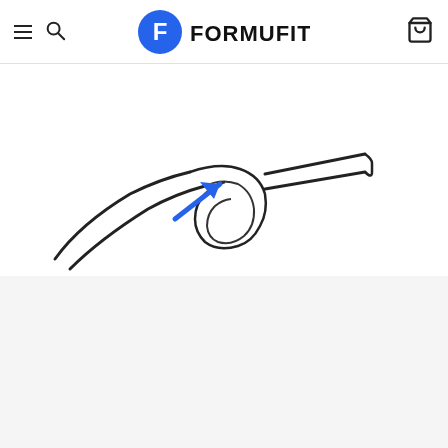FORMUFIT
[Figure (illustration): A product illustration showing a pipe fitting detail with a blue arrow pointing to a curved connector joint. The drawing is a line illustration on white background showing a close-up of a tube/pipe fitting connection.]